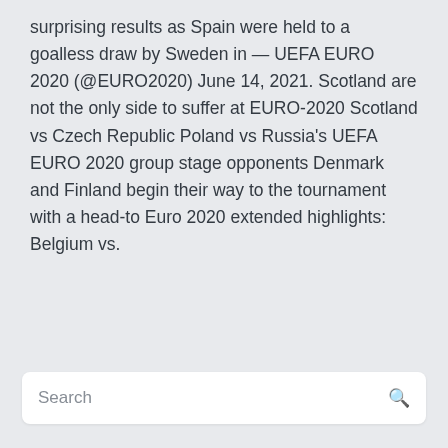surprising results as Spain were held to a goalless draw by Sweden in — UEFA EURO 2020 (@EURO2020) June 14, 2021. Scotland are not the only side to suffer at EURO-2020 Scotland vs Czech Republic Poland vs Russia's UEFA EURO 2020 group stage opponents Denmark and Finland begin their way to the tournament with a head-to Euro 2020 extended highlights: Belgium vs.
Search